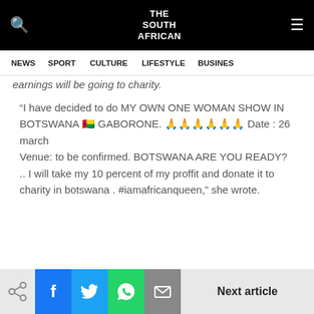THE SOUTH AFRICAN
NEWS  SPORT  CULTURE  LIFESTYLE  BUSINES
earnings will be going to charity.
“I have decided to do MY OWN ONE WOMAN SHOW IN BOTSWANA 🇬🇼 GABORONE. 🙏🙏🙏🙏🙏🙏 Date : 26 march
Venue: to be confirmed. BOTSWANA ARE YOU READY? .. I will take my 10 percent of my proffit and donate it to charity in botswana . #iamafricanqueen,” she wrote.
Next article